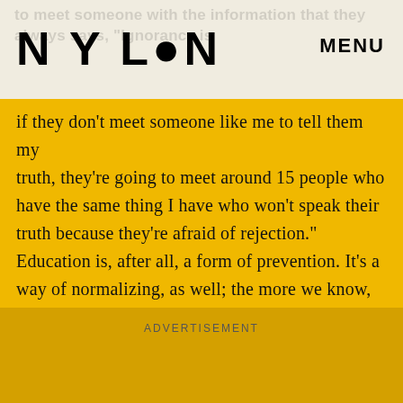NYLON   MENU
if they don't meet someone like me to tell them my truth, they're going to meet around 15 people who have the same thing I have who won't speak their truth because they're afraid of rejection." Education is, after all, a form of prevention. It's a way of normalizing, as well; the more we know, the less afraid we'll be and the more likely we will be to act with a well-informed sense of caution, instead of ignorant recklessness.
ADVERTISEMENT